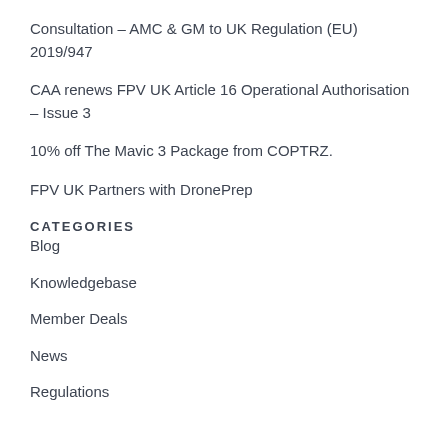Consultation – AMC & GM to UK Regulation (EU) 2019/947
CAA renews FPV UK Article 16 Operational Authorisation – Issue 3
10% off The Mavic 3 Package from COPTRZ.
FPV UK Partners with DronePrep
CATEGORIES
Blog
Knowledgebase
Member Deals
News
Regulations